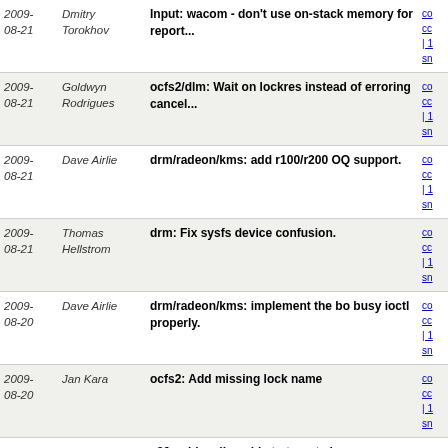2009-08-21 | Dmitry Torokhov | Input: wacom - don't use on-stack memory for report...
2009-08-21 | Goldwyn Rodrigues | ocfs2/dlm: Wait on lockres instead of erroring cancel...
2009-08-21 | Dave Airlie | drm/radeon/kms: add r100/r200 OQ support.
2009-08-21 | Thomas Hellstrom | drm: Fix sysfs device confusion.
2009-08-20 | Dave Airlie | drm/radeon/kms: implement the bo busy ioctl properly.
2009-08-20 | Jan Kara | ocfs2: Add missing lock name
2009-08-20 | Jan Beulich | x86: add vmlinux.lds to targets in arch/x86/boot/compre...
2009-08-20 | Linus Torvalds | Merge branch 'i2c-fixes-rc6' of git://aeryn.fluff.org...
2009-08-20 | Linus Walleij | i2c-stu300: I2C STU300 stability updates
2009-08-20 | Moiz Sonasath | i2c-omap: Enable workaround for Errata 1.153 based on